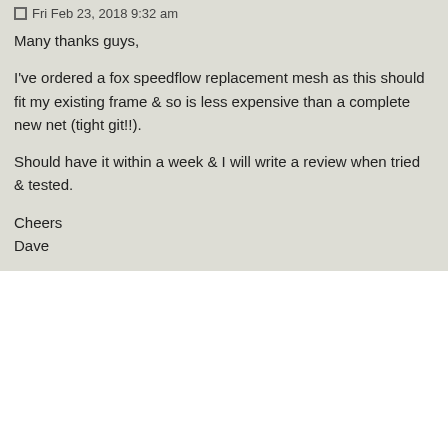Fri Feb 23, 2018 9:32 am
Many thanks guys,

I've ordered a fox speedflow replacement mesh as this should fit my existing frame & so is less expensive than a complete new net (tight git!!).

Should have it within a week & I will write a review when tried & tested.

Cheers
Dave
Davidcard1811
Re: Pike landing net
Tue Mar 13, 2018 2:06 pm
Got the rage speedflow mesh and it's a perfect fit for my 42 inch triangular frame. Had to go to my local tackle shop to order as online companies don't seem to stock just the mesh & Fox didn't reply to my email enquiry. Cost £28.99.

Have tested on about 6 pike so far and the rubberised mesh has worked very well. No tangles with teeth or trebles so far. Also quite light & dries quickly with no smell either which makes the wife very happy!! I am well